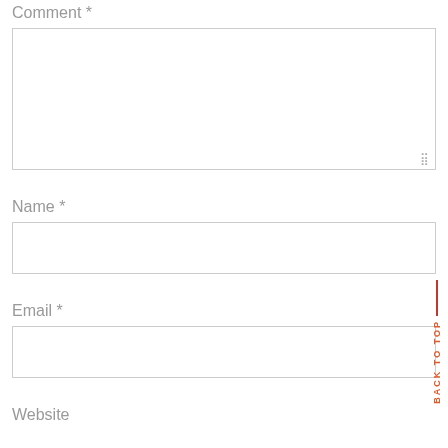Comment *
[Figure (screenshot): Comment text area input box with resize handle in bottom-right corner]
Name *
[Figure (screenshot): Name single-line text input box]
Email *
[Figure (screenshot): Email single-line text input box]
Website
[Figure (screenshot): Back to Top vertical text with orange line on right side]